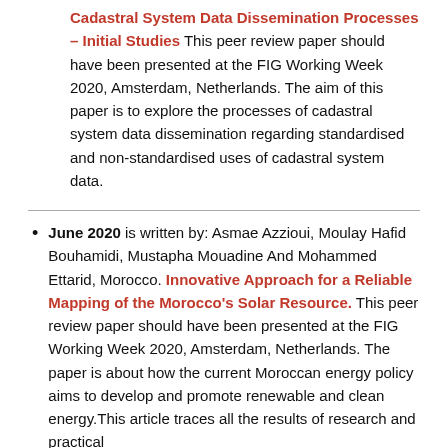Cadastral System Data Dissemination Processes – Initial Studies This peer review paper should have been presented at the FIG Working Week 2020, Amsterdam, Netherlands. The aim of this paper is to explore the processes of cadastral system data dissemination regarding standardised and non-standardised uses of cadastral system data.
June 2020 is written by: Asmae Azzioui, Moulay Hafid Bouhamidi, Mustapha Mouadine And Mohammed Ettarid, Morocco. Innovative Approach for a Reliable Mapping of the Morocco's Solar Resource. This peer review paper should have been presented at the FIG Working Week 2020, Amsterdam, Netherlands. The paper is about how the current Moroccan energy policy aims to develop and promote renewable and clean energy.This article traces all the results of research and practical